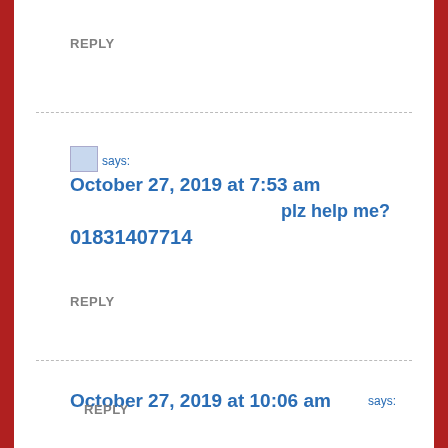REPLY
says:
October 27, 2019 at 7:53 am
plz help me?
01831407714
REPLY
says:
October 27, 2019 at 10:06 am
REPLY